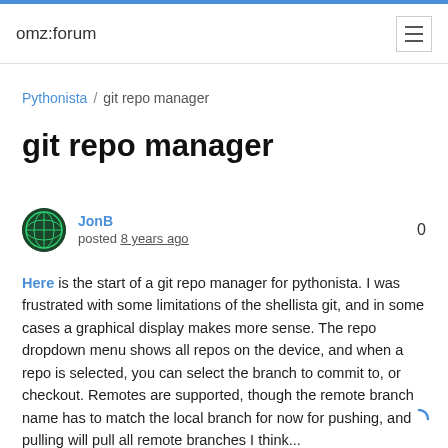omz:forum
Pythonista / git repo manager
git repo manager
JonB
posted 8 years ago
0
Here is the start of a git repo manager for pythonista. I was frustrated with some limitations of the shellista git, and in some cases a graphical display makes more sense. The repo dropdown menu shows all repos on the device, and when a repo is selected, you can select the branch to commit to, or checkout. Remotes are supported, though the remote branch name has to match the local branch for now for pushing, and pulling will pull all remote branches I think...
Staging, unstaging, etc are managed by the buttons in the lower section. Also, one can view a diff of a modified file against the current HEAD, or open in the editor.